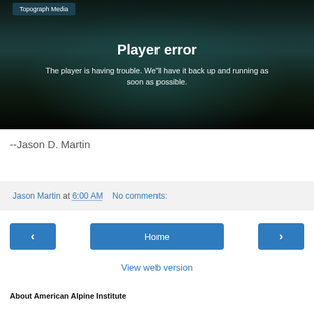[Figure (screenshot): Video player error screen with dark forest/mountain background. Shows 'Topograph Media' label top left, 'Player error' heading, and error message text.]
--Jason D. Martin
Jason Martin at 6:00 AM   No comments:
‹   Home   ›
View web version
About American Alpine Institute